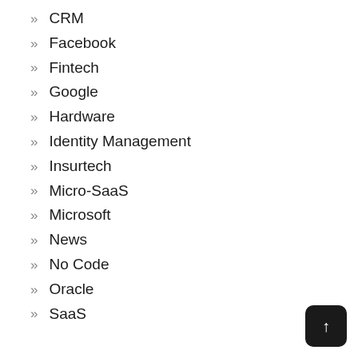CRM
Facebook
Fintech
Google
Hardware
Identity Management
Insurtech
Micro-SaaS
Microsoft
News
No Code
Oracle
SaaS